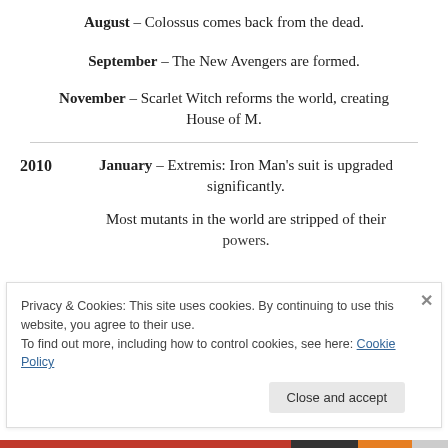August – Colossus comes back from the dead.
September – The New Avengers are formed.
November – Scarlet Witch reforms the world, creating House of M.
2010   January – Extremis: Iron Man's suit is upgraded significantly.
Most mutants in the world are stripped of their powers.
Privacy & Cookies: This site uses cookies. By continuing to use this website, you agree to their use. To find out more, including how to control cookies, see here: Cookie Policy